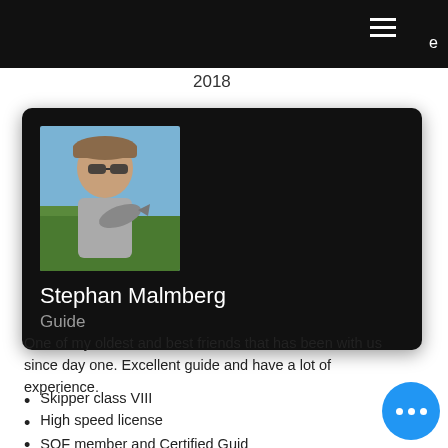2018
[Figure (photo): Profile card with photo of Stephan Malmberg holding a fish, wearing a cap and sunglasses outdoors]
Stephan Malmberg
Guide
One of my oldest and best friends that has been with us since day one. Excellent guide and have a lot of experience.
Skipper class VIII
High speed license
SOF member and Certified Guide 2018